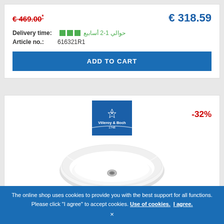€ 469.00* (strikethrough, red)
€ 318.59
Delivery time: ■■■ حوالي 1-2 أسابيع
Article no.: 616321R1
ADD TO CART
[Figure (photo): Villeroy & Boch brand logo on blue background and a white oval ceramic sink/basin with chrome drain]
-32%
The online shop uses cookies to provide you with the best support for all functions. Please click "I agree" to accept cookies. Use of cookies. I agree.